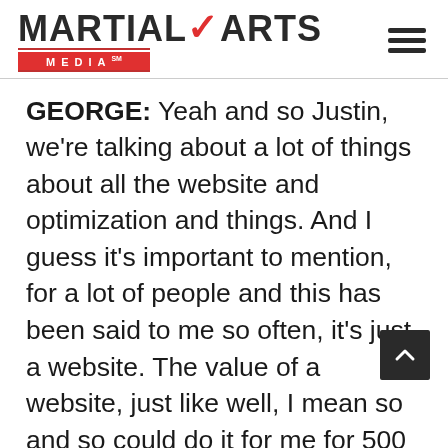[Figure (logo): Martial Arts Media logo with red MEDIA bar and hamburger menu icon]
GEORGE: Yeah and so Justin, we're talking about a lot of things about all the website and optimization and things. And I guess it's important to mention, for a lot of people and this has been said to me so often, it's just a website. The value of a website, just like well, I mean so and so could do it for me for 500 bucks, so and so could do for me for 1000 bucks. Well the reality is and I've done this mess at so many presentations, if you're a lifetime student value is on average, I think the